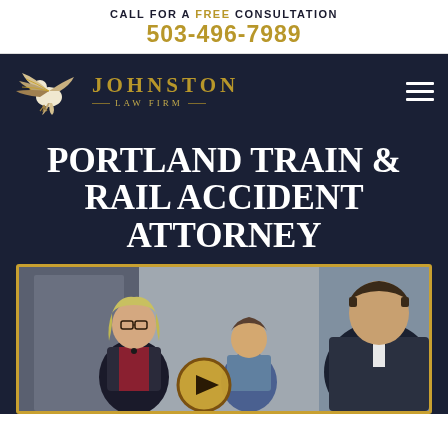CALL FOR A FREE CONSULTATION
503-496-7989
[Figure (logo): Johnston Law Firm logo with eagle and navigation bar with hamburger menu]
PORTLAND TRAIN & RAIL ACCIDENT ATTORNEY
[Figure (photo): Video thumbnail showing attorney consulting with clients in an office setting, with a gold play button overlay]